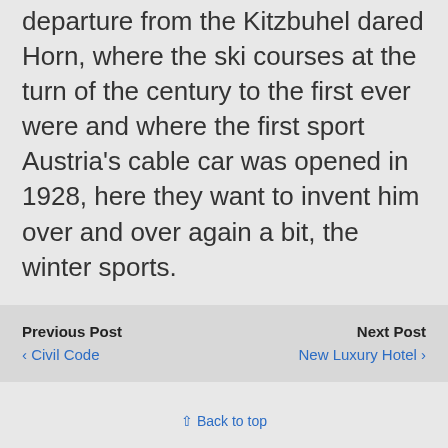departure from the Kitzbuhel dared Horn, where the ski courses at the turn of the century to the first ever were and where the first sport Austria's cable car was opened in 1928, here they want to invent him over and over again a bit, the winter sports.
Previous Post
‹ Civil Code
Next Post
New Luxury Hotel ›
⇧ Back to top
Mobile | Desktop